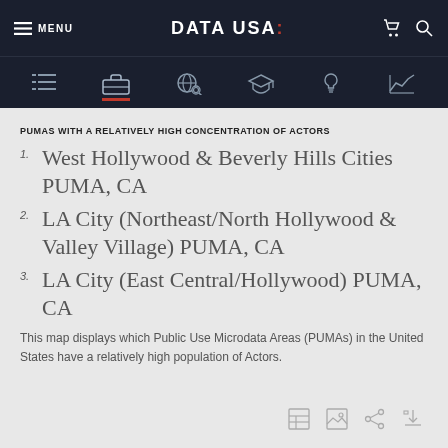MENU | DATA USA: | [cart] [search]
PUMAS WITH A RELATIVELY HIGH CONCENTRATION OF ACTORS
West Hollywood & Beverly Hills Cities PUMA, CA
LA City (Northeast/North Hollywood & Valley Village) PUMA, CA
LA City (East Central/Hollywood) PUMA, CA
This map displays which Public Use Microdata Areas (PUMAs) in the United States have a relatively high population of Actors.